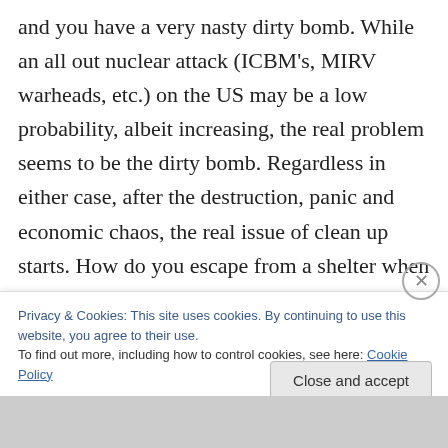and you have a very nasty dirty bomb. While an all out nuclear attack (ICBM's, MIRV warheads, etc.) on the US may be a low probability, albeit increasing, the real problem seems to be the dirty bomb. Regardless in either case, after the destruction, panic and economic chaos, the real issue of clean up starts. How do you escape from a shelter when the area around you is contaminated? Most spaces talk about soap and water and chemical wipes. There needs to be some kind of decon gel like they talk about on
Privacy & Cookies: This site uses cookies. By continuing to use this website, you agree to their use.
To find out more, including how to control cookies, see here: Cookie Policy
Close and accept